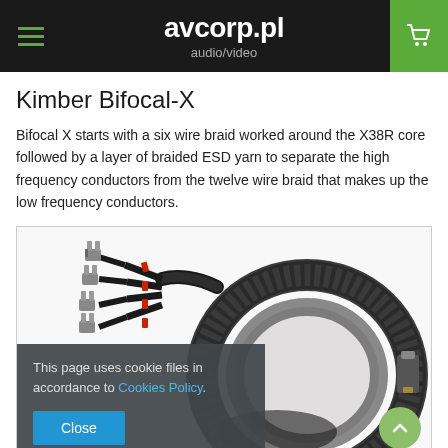avcorp.pl audio/video
Kimber Bifocal-X
Bifocal X starts with a six wire braid worked around the X38R core followed by a layer of braided ESD yarn to separate the high frequency conductors from the twelve wire braid that makes up the low frequency conductors.
[Figure (photo): Kimber Bifocal-X speaker cable coiled with multiple spade/banana connectors at one end and a single connector at the other end. The cable is black braided with a large coil.]
This page uses cookie files in accordance to Cookies Policy.
Close